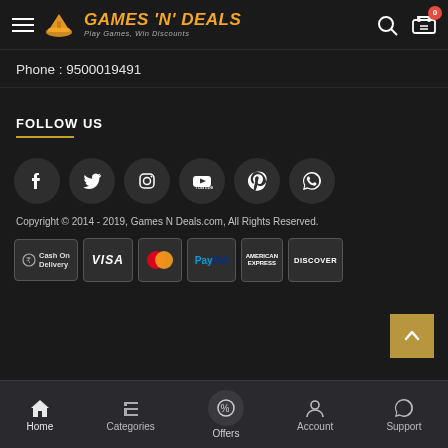[Figure (screenshot): Games N Deals website header with hamburger menu, logo, search icon, and cart icon with badge showing 0]
Phone : 9500019491
FOLLOW US
[Figure (infographic): Six social media icons in dark circles: Facebook, Twitter, Instagram, YouTube, Pinterest, WhatsApp]
Copyright © 2014 - 2019, Games N Deals.com, All Rights Reserved.
[Figure (infographic): Payment method badges: Cash On Delivery, VISA, Mastercard, PayPal, American Express, Discover]
Home | Categories | Offers | Account | Support